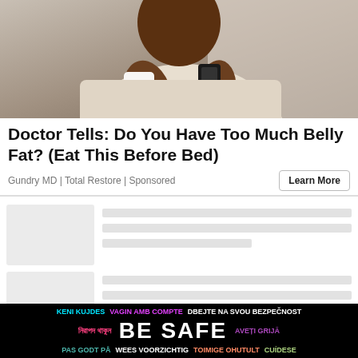[Figure (photo): Photo of a person in a cream/white sweatshirt holding a white mug and a smartphone, kitchen background]
Doctor Tells: Do You Have Too Much Belly Fat? (Eat This Before Bed)
Gundry MD | Total Restore | Sponsored
[Figure (other): Loading skeleton placeholder cards with grey thumbnail boxes and grey text lines]
[Figure (infographic): BE SAFE multilingual safety banner in black background with colored text in multiple languages including Bengali, Swedish, Welsh, Spanish, Czech, Romanian]